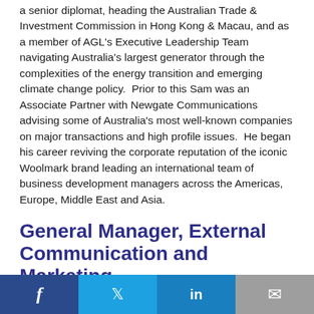a senior diplomat, heading the Australian Trade & Investment Commission in Hong Kong & Macau, and as a member of AGL's Executive Leadership Team navigating Australia's largest generator through the complexities of the energy transition and emerging climate change policy.  Prior to this Sam was an Associate Partner with Newgate Communications advising some of Australia's most well-known companies on major transactions and high profile issues.  He began his career reviving the corporate reputation of the iconic Woolmark brand leading an international team of business development managers across the Americas, Europe, Middle East and Asia.
General Manager, External Communication and Marketing
f   t   in   email